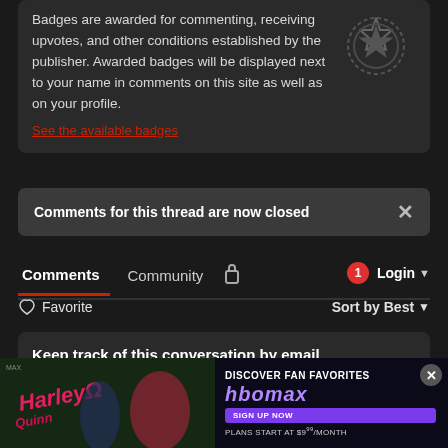Badges are awarded for commenting, receiving upvotes, and other conditions established by the publisher. Awarded badges will be displayed next to your name in comments on this site as well as on your profile.
See the available badges
Comments for this thread are now closed
Comments  Community  Login
♡ Favorite    Sort by Best
Keep track of this conversation by email
Keep track of article updates and active conversations by email. Your email will not be shared by
[Figure (screenshot): HBO Max advertisement overlay showing 'Discover Fan Favorites', HBO Max logo, Sign Up Now button, and Plans start at $9/month text. Left side shows cartoon characters.]